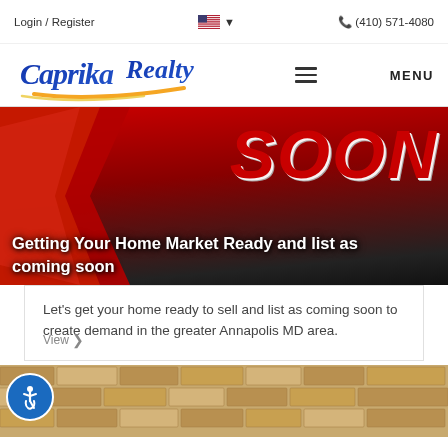Login / Register  🇺🇸 ▾  📞 (410) 571-4080
[Figure (logo): Caprika Realty logo with blue and orange swoosh, plus hamburger MENU icon]
[Figure (photo): Coming Soon banner image with red ribbons and text: Getting Your Home Market Ready and list as coming soon]
Let's get your home ready to sell and list as coming soon to create demand in the greater Annapolis MD area.
[Figure (photo): Brick wall texture image at bottom of page, with accessibility icon (blue circle with wheelchair symbol) in lower left]